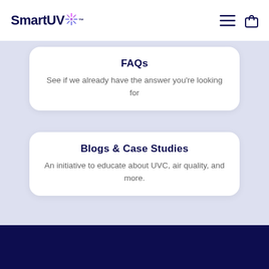SmartUV
FAQs
See if we already have the answer you're looking for
Blogs & Case Studies
An initiative to educate about UVC, air quality, and more.